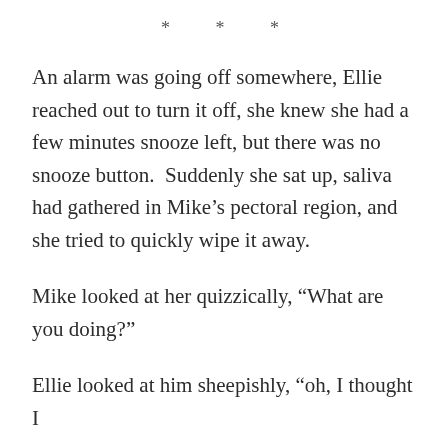* * *
An alarm was going off somewhere, Ellie reached out to turn it off, she knew she had a few minutes snooze left, but there was no snooze button.  Suddenly she sat up, saliva had gathered in Mike’s pectoral region, and she tried to quickly wipe it away.
Mike looked at her quizzically, “What are you doing?”
Ellie looked at him sheepishly, “oh, I thought I